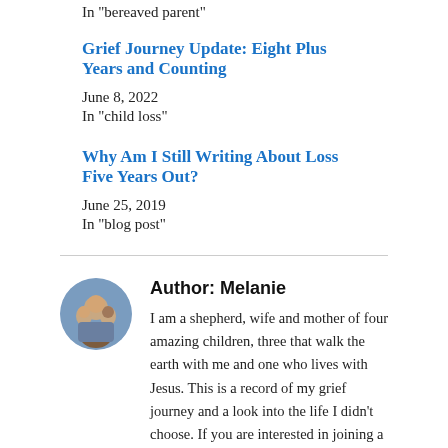In "bereaved parent"
Grief Journey Update: Eight Plus Years and Counting
June 8, 2022
In "child loss"
Why Am I Still Writing About Loss Five Years Out?
June 25, 2019
In "blog post"
Author: Melanie
I am a shepherd, wife and mother of four amazing children, three that walk the earth with me and one who lives with Jesus. This is a record of my grief journey and a look into the life I didn't choose. If you are interested in joining a community of bereaved parents leaning on the promises of God in Christ, please like the public Facebook page, "Heartache and